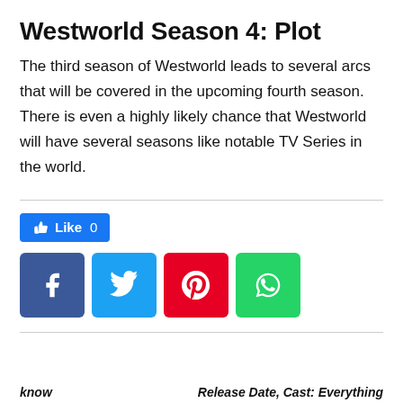Westworld Season 4: Plot
The third season of Westworld leads to several arcs that will be covered in the upcoming fourth season. There is even a highly likely chance that Westworld will have several seasons like notable TV Series in the world.
[Figure (infographic): Facebook Like button showing 'Like 0' with thumbs up icon in blue, followed by four social media share buttons: Facebook (dark blue, f icon), Twitter (light blue, bird icon), Pinterest (red, p icon), WhatsApp (green, phone icon)]
know   Release Date, Cast: Everything